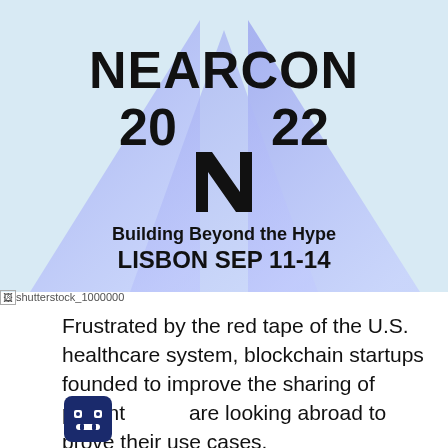[Figure (logo): NEARCON 2022 event logo with blue/purple gradient triangle shapes in background. Text reads: NEARCON 20 22, NEAR logo mark (stylized N), Building Beyond the Hype, LISBON SEP 11-14]
Frustrated by the red tape of the U.S. healthcare system, blockchain startups founded to improve the sharing of patient data are looking abroad to prove their use cases.